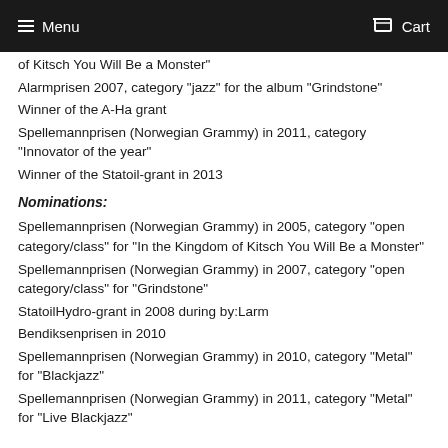Menu  Cart
of Kitsch You Will Be a Monster"
Alarmprisen 2007, category "jazz" for the album "Grindstone"
Winner of the A-Ha grant
Spellemannprisen (Norwegian Grammy) in 2011, category "Innovator of the year"
Winner of the Statoil-grant in 2013
Nominations:
Spellemannprisen (Norwegian Grammy) in 2005, category "open category/class" for "In the Kingdom of Kitsch You Will Be a Monster"
Spellemannprisen (Norwegian Grammy) in 2007, category "open category/class" for "Grindstone"
StatoilHydro-grant in 2008 during by:Larm
Bendiksenprisen in 2010
Spellemannprisen (Norwegian Grammy) in 2010, category "Metal" for "Blackjazz"
Spellemannprisen (Norwegian Grammy) in 2011, category "Metal" for "Live Blackjazz"